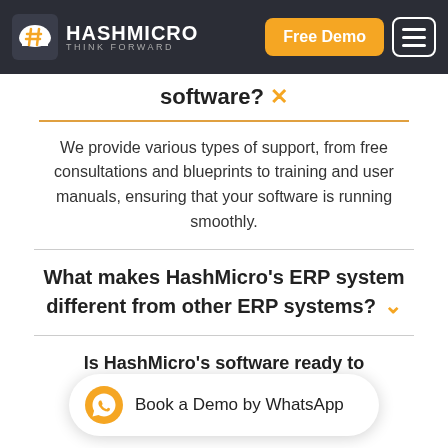HashMicro - Think Forward | Free Demo | Menu
software?
We provide various types of support, from free consultations and blueprints to training and user manuals, ensuring that your software is running smoothly.
What makes HashMicro's ERP system different from other ERP systems?
Is HashMicro's software ready to use or designed from scratch?
Book a Demo by WhatsApp